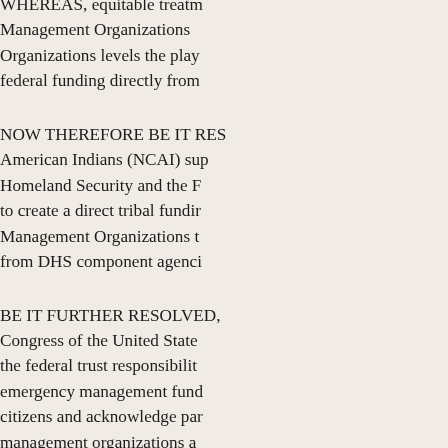WHEREAS, equitable treatment of Tribal Emergency Management Organizations levels the playing field for Tribal Organizations levels the play federal funding directly from
NOW THEREFORE BE IT RESOLVED, that the National Congress of American Indians (NCAI) supports the efforts of the Department of Homeland Security and the Federal Emergency Management Agency to create a direct tribal funding stream for Tribal Emergency Management Organizations that would allow tribes to receive funding from DHS component agencies;
BE IT FURTHER RESOLVED, that NCAI calls upon the Congress of the United States to enact legislation to fulfill the federal trust responsibility to tribes by providing direct emergency management funding to tribes as sovereign governments and citizens and acknowledge parity between tribal emergency management organizations and state and local emergency management organizations; and